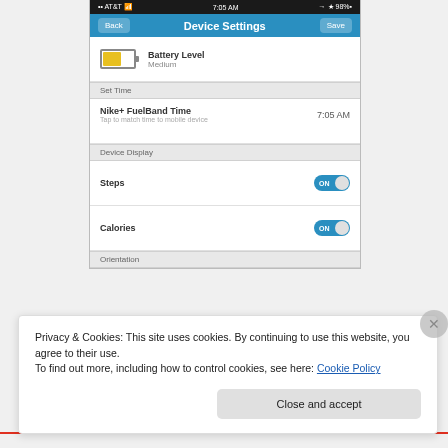[Figure (screenshot): iPhone app screenshot showing Nike+ FuelBand Device Settings screen with Battery Level (Medium), Set Time section with Nike+ FuelBand Time 7:05 AM, Device Display section with Steps ON and Calories ON toggles, and Orientation section header]
Privacy & Cookies: This site uses cookies. By continuing to use this website, you agree to their use.
To find out more, including how to control cookies, see here: Cookie Policy
Close and accept